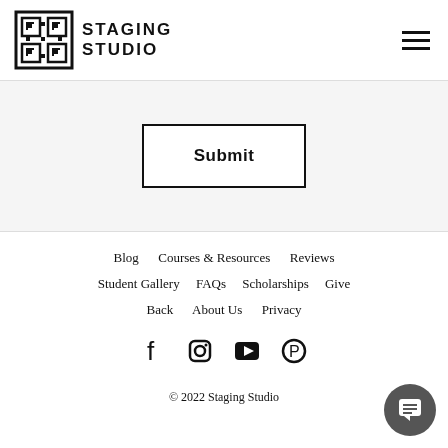[Figure (logo): Staging Studio logo with geometric square icon and text STAGING STUDIO]
[Figure (other): Hamburger menu icon with three horizontal lines]
Submit
Blog    Courses & Resources    Reviews    Student Gallery    FAQs    Scholarships    Give Back    About Us    Privacy
[Figure (other): Social media icons: Facebook, Instagram, YouTube, Pinterest]
© 2022 Staging Studio